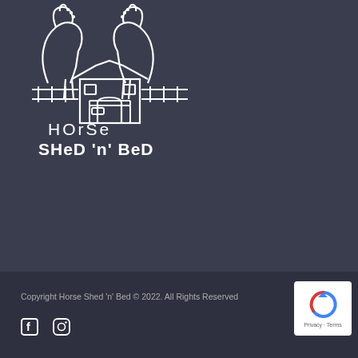[Figure (logo): Horse Shed 'n' Bed logo with white line-art illustration of two horses flanking a barn with a bed inside, and fences on either side. Text reads 'Horse SHeD n BeD' in white on dark blue-grey background.]
Copyright Horse Shed 'n' Bed © 2022. All Rights Reserved
[Figure (illustration): Social media icons: Facebook 'f' icon and Instagram camera icon in white on dark footer background.]
[Figure (other): Google reCAPTCHA badge with circular arrow logo and 'Privacy - Terms' text at bottom.]